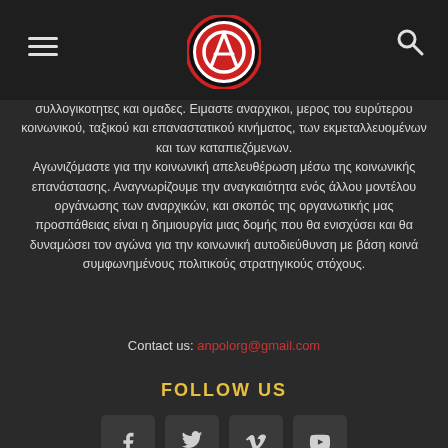[Figure (logo): Anarchist circle-A logo in red, black and white with circular border]
συλλογικοτητες και ομαδες. Ειμαστε αναρχικοι, μερος του ευρύτερου κοινωνικού, ταξικού και επαναστατικού κινήματος, των εκμεταλλευομένων και των καταπιεζόμενων. Αγωνιζόμαστε για την κοινωνική απελευθέρωση μέσω της κοινωνικής επανάστασης. Αναγνωρίζουμε την αναγκαιότητα ενός άλλου μοντέλου οργάνωσης των αναρχικών, και σκοπός της οργανωτικής μας προσπάθειας είναι η δημιουργία μιας δομής που θα ενισχύσει και θα δυναμώσει τον αγώνα για την κοινωνική αυτοδιεύθυνση με βάση κοινά συμφωνημένους πολιτικούς στρατηγικούς στόχους.
Contact us: anpolorg@gmail.com
FOLLOW US
[Figure (illustration): Social media icons: Facebook, Twitter, Vimeo, YouTube in dark square boxes]